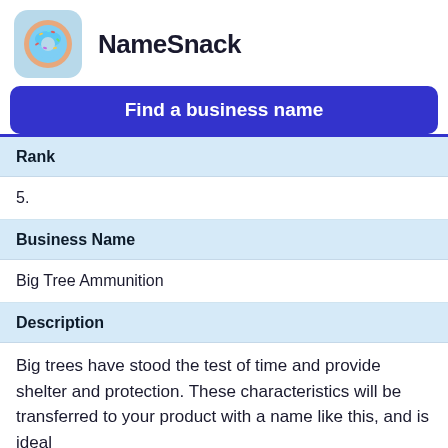[Figure (logo): NameSnack donut logo — a donut with blue icing and colorful sprinkles on a light blue rounded square background]
NameSnack
Find a business name
| Rank | Business Name | Description |
| --- | --- | --- |
| 5. | Big Tree Ammunition | Big trees have stood the test of time and provide shelter and protection. These characteristics will be transferred to your product with a name like this, and is ideal |